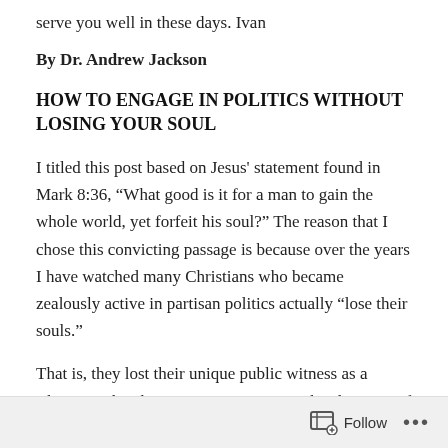serve you well in these days. Ivan
By Dr. Andrew Jackson
HOW TO ENGAGE IN POLITICS WITHOUT LOSING YOUR SOUL
I titled this post based on Jesus' statement found in Mark 8:36, “What good is it for a man to gain the whole world, yet forfeit his soul?” The reason that I chose this convicting passage is because over the years I have watched many Christians who became zealously active in partisan politics actually “lose their souls.”
That is, they lost their unique public witness as a Christian; they began to act contrary to the character of Christ and
Follow ...